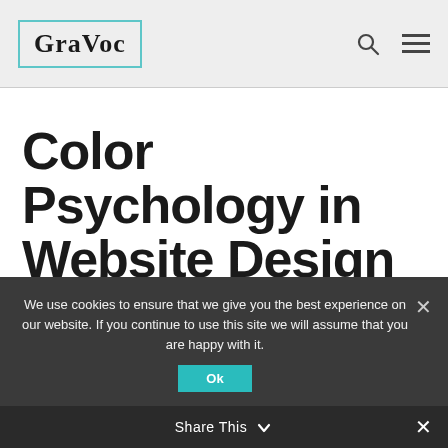GraVoc
Color Psychology in Website Design
Jun 9, 2015 | Dev & Design, Tips and Tricks, WordPress
We use cookies to ensure that we give you the best experience on our website. If you continue to use this site we will assume that you are happy with it.
Ok
Share This